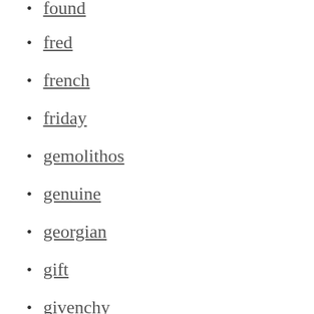found
fred
french
friday
gemolithos
genuine
georgian
gift
givenchy
glorious
gold
gorgeous
gorgeously
graceful
great
greek
green
h...st